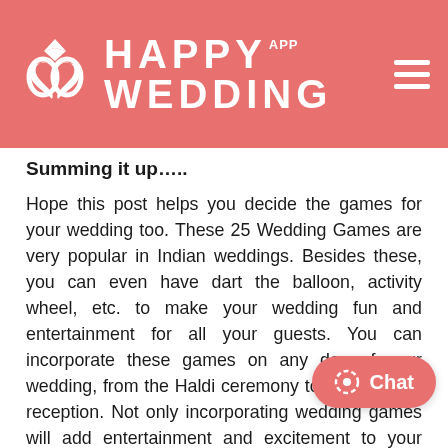HAPPY WEDDING APP
Summing it up…..
Hope this post helps you decide the games for your wedding too. These 25 Wedding Games are very popular in Indian weddings. Besides these, you can even have dart the balloon, activity wheel, etc. to make your wedding fun and entertainment for all your guests. You can incorporate these games on any day of your wedding, from the Haldi ceremony to the wedding reception. Not only incorporating wedding games will add entertainment and excitement to your wedding, but also they will take your wedding to another level.
Moreover, these wedding games icebreakers; having them at your wedding will make